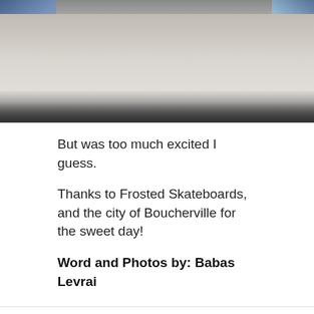[Figure (photo): Partial photo showing what appears to be a skateboard/ground scene with blue elements in corners]
But was too much excited I guess.
Thanks to Frosted Skateboards, and the city of Boucherville for the sweet day!
Word and Photos by: Babas Levrai
3 Comments
Marnie Berg says: August 26, 2018 at 5:45 pm